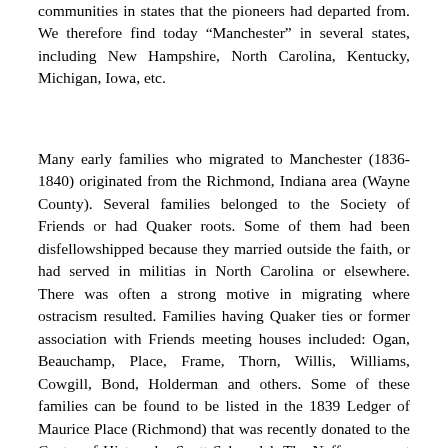communities in states that the pioneers had departed from. We therefore find today “Manchester” in several states, including New Hampshire, North Carolina, Kentucky, Michigan, Iowa, etc.
Many early families who migrated to Manchester (1836-1840) originated from the Richmond, Indiana area (Wayne County). Several families belonged to the Society of Friends or had Quaker roots. Some of them had been disfellowshipped because they married outside the faith, or had served in militias in North Carolina or elsewhere. There was often a strong motive in migrating where ostracism resulted. Families having Quaker ties or former association with Friends meeting houses included: Ogan, Beauchamp, Place, Frame, Thorn, Willis, Williams, Cowgill, Bond, Holderman and others. Some of these families can be found to be listed in the 1839 Ledger of Maurice Place (Richmond) that was recently donated to the Center of History by Scott Schmedel. The Neffs came out of Preble County, Ohio, next door to Wayne